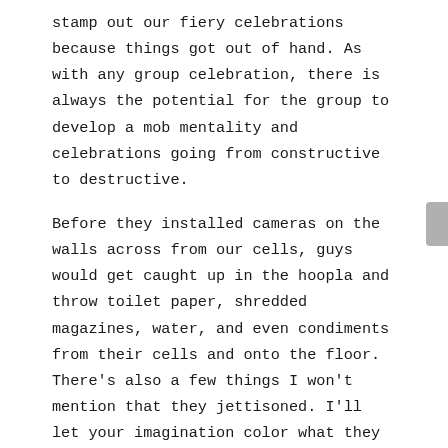stamp out our fiery celebrations because things got out of hand. As with any group celebration, there is always the potential for the group to develop a mob mentality and celebrations going from constructive to destructive.

Before they installed cameras on the walls across from our cells, guys would get caught up in the hoopla and throw toilet paper, shredded magazines, water, and even condiments from their cells and onto the floor. There's also a few things I won't mention that they jettisoned. I'll let your imagination color what they might have been. Lol.